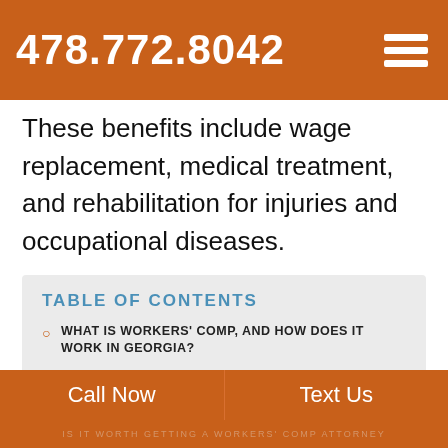478.772.8042
These benefits include wage replacement, medical treatment, and rehabilitation for injuries and occupational diseases.
TABLE OF CONTENTS
WHAT IS WORKERS' COMP, AND HOW DOES IT WORK IN GEORGIA?
WHAT WORKERS' COMPENSATION BENEFITS ARE AVAILABLE IN GEORGIA?
HOW DOES THE GEORGIA WORKERS' COMP PROCESS WORK?
Call Now   Text Us